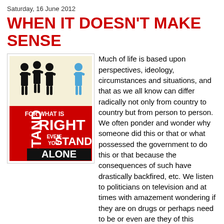Saturday, 16 June 2012
WHEN IT DOESN'T MAKE SENSE
[Figure (illustration): Motivational poster with black silhouette figures (group of three) and a lone blue figure, with text: STAND FOR WHAT IS RIGHT EVEN IF YOU STAND ALONE]
Much of life is based upon perspectives, ideology, circumstances and situations, and that as we all know can differ radically not only from country to country but from person to person. We often ponder and wonder why someone did this or that or what possessed the government to do this or that because the consequences of such have drastically backfired, etc. We listen to politicians on television and at times with amazement wondering if they are on drugs or perhaps need to be or even are they of this planet, it's often that groups of people change their opinions